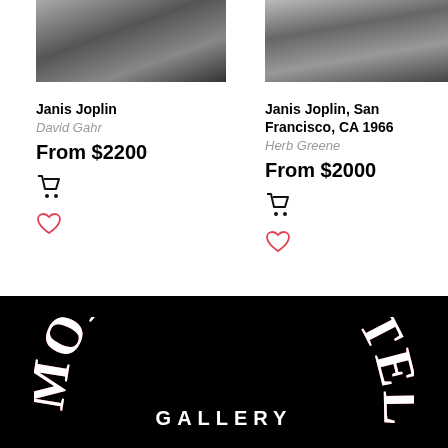[Figure (photo): Black and white photo of Janis Joplin (left column)]
Janis Joplin
David Gahr
From $2200
[Figure (photo): Black and white photo of Janis Joplin, San Francisco (right column)]
Janis Joplin, San Francisco, CA 1966
Herb Greene
From $2000
[Figure (logo): Morrison Hotel Gallery logo — arched red and white text on black background]